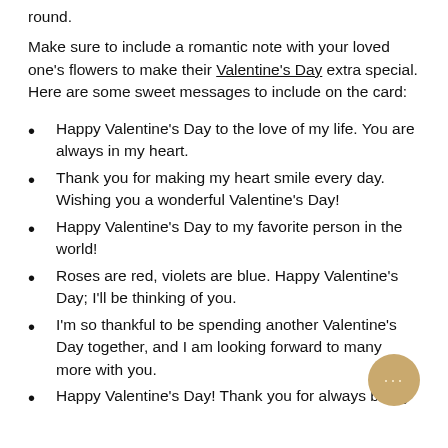round.
Make sure to include a romantic note with your loved one's flowers to make their Valentine's Day extra special. Here are some sweet messages to include on the card:
Happy Valentine's Day to the love of my life. You are always in my heart.
Thank you for making my heart smile every day. Wishing you a wonderful Valentine's Day!
Happy Valentine's Day to my favorite person in the world!
Roses are red, violets are blue. Happy Valentine's Day; I'll be thinking of you.
I'm so thankful to be spending another Valentine's Day together, and I am looking forward to many more with you.
Happy Valentine's Day! Thank you for always being